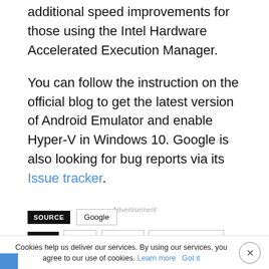additional speed improvements for those using the Intel Hardware Accelerated Execution Manager.
You can follow the instruction on the official blog to get the latest version of Android Emulator and enable Hyper-V in Windows 10. Google is also looking for bug reports via its Issue tracker.
Advertisement
SOURCE   Google
TAGS   AMD   Android   Android emulator   Apps   Developers   Hyper-V
Cookies help us deliver our services. By using our services, you agree to our use of cookies. Learn more   Got it